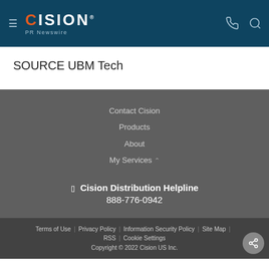CISION PR Newswire
SOURCE UBM Tech
Contact Cision
Products
About
My Services
Cision Distribution Helpline 888-776-0942
Terms of Use | Privacy Policy | Information Security Policy | Site Map | RSS | Cookie Settings
Copyright © 2022 Cision US Inc.